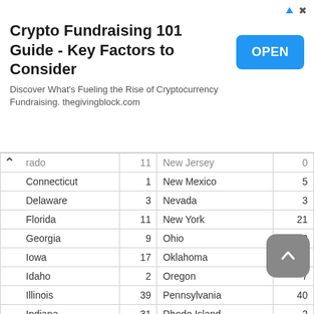[Figure (other): Advertisement banner: 'Crypto Fundraising 101 Guide - Key Factors to Consider' with OPEN button and subtext 'Discover What's Fueling the Rise of Cryptocurrency Fundraising. thegivingblock.com']
| State | # | State | # |
| --- | --- | --- | --- |
| rado (Colorado) | 11 | New Jersey | 0 |
| Connecticut | 1 | New Mexico | 5 |
| Delaware | 3 | Nevada | 3 |
| Florida | 11 | New York | 21 |
| Georgia | 9 | Ohio | 38 |
| Iowa | 17 | Oklahoma | 9 |
| Idaho | 2 | Oregon | 7 |
| Illinois | 39 | Pennsylvania | 40 |
| Indiana | 31 | Rhode Island | 2 |
| Kansas | 19 | South Carolina | 5 |
| Kentucky | 14 | South Dakota | 5 |
| Louisiana | 8 | Tennessee | 15 |
| Massachusetts | 5 | Texas |  |
| Maryland | 6 | Utah |  |
| Maine | 4 | Virginia | 13 |